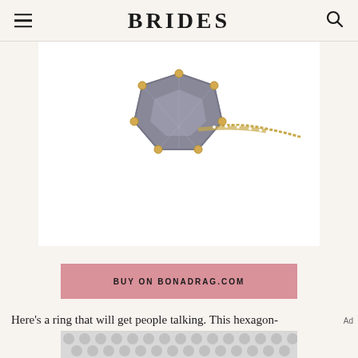BRIDES
[Figure (photo): Close-up photo of a hexagonal gemstone ring with a grey/black druzy stone set in gold prongs, with a diamond-encrusted gold band, on a white background.]
BUY ON BONADRAG.COM
Here's a ring that will get people talking. This hexagon-
[Figure (other): Advertisement placeholder with grey dot/bubble pattern on light grey background.]